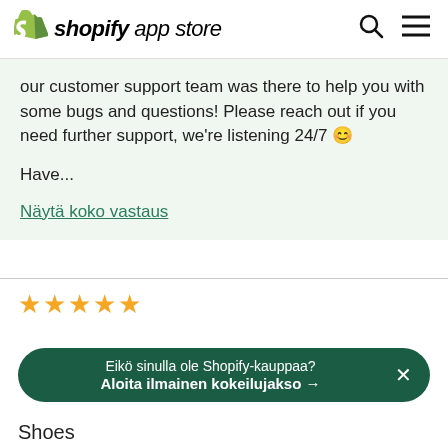shopify app store
our customer support team was there to help you with some bugs and questions! Please reach out if you need further support, we're listening 24/7 🙂

Have...
Näytä koko vastaus
★★★★★
Eikö sinulla ole Shopify-kauppaa?
Aloita ilmainen kokeilujakso →
Shoes